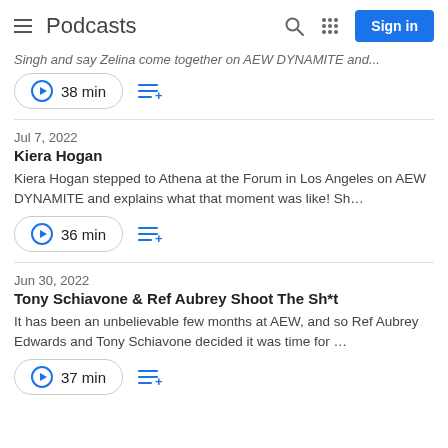Podcasts
Singh and say Zelina come together on AEW DYNAMITE and...
38 min
Jul 7, 2022
Kiera Hogan
Kiera Hogan stepped to Athena at the Forum in Los Angeles on AEW DYNAMITE and explains what that moment was like! Sh…
36 min
Jun 30, 2022
Tony Schiavone & Ref Aubrey Shoot The Sh*t
It has been an unbelievable few months at AEW, and so Ref Aubrey Edwards and Tony Schiavone decided it was time for …
37 min